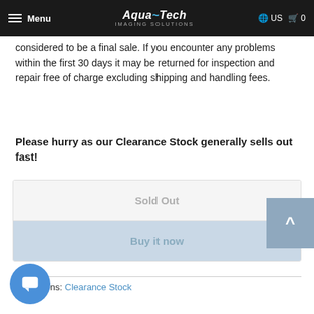AquaTech Imaging Solutions — Menu | US | Cart 0
considered to be a final sale. If you encounter any problems within the first 30 days it may be returned for inspection and repair free of charge excluding shipping and handling fees.
Please hurry as our Clearance Stock generally sells out fast!
Sold Out
Buy it now
Collections: Clearance Stock